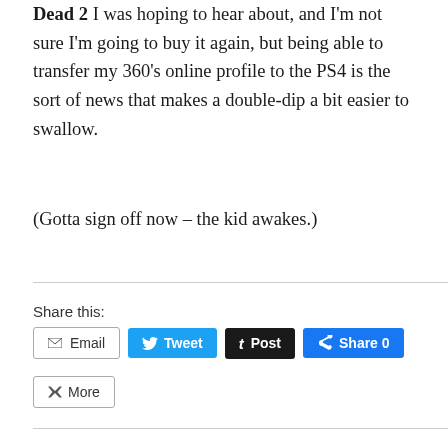Dead 2 I was hoping to hear about, and I'm not sure I'm going to buy it again, but being able to transfer my 360's online profile to the PS4 is the sort of news that makes a double-dip a bit easier to swallow.

(Gotta sign off now – the kid awakes.)
Share this: